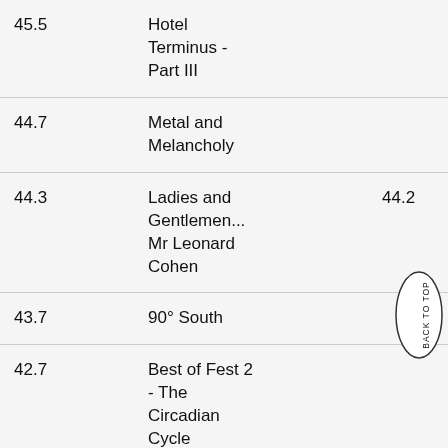| Score | Title | Score2 |
| --- | --- | --- |
| 45.5 | Hotel Terminus - Part III |  |
| 44.7 | Metal and Melancholy |  |
| 44.3 | Ladies and Gentlemen... Mr Leonard Cohen | 44.2 |
| 43.7 | 90° South |  |
| 42.7 | Best of Fest 2 - The Circadian Cycle |  |
| 42.5 | Rabbit... |  |